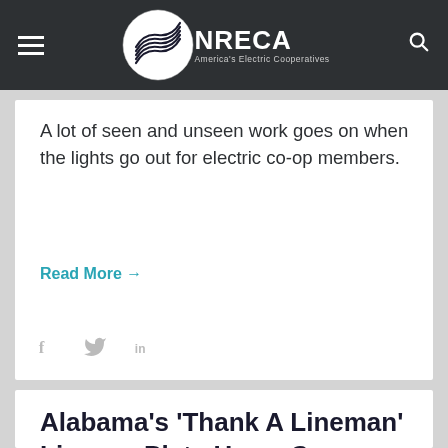NRECA — America's Electric Cooperatives
A lot of seen and unseen work goes on when the lights go out for electric co-op members.
Read More →
[Figure (other): Social sharing icons: Facebook (f), Twitter bird, LinkedIn (in)]
Alabama's 'Thank A Lineman' License Plate Has a Co-op Pedigree